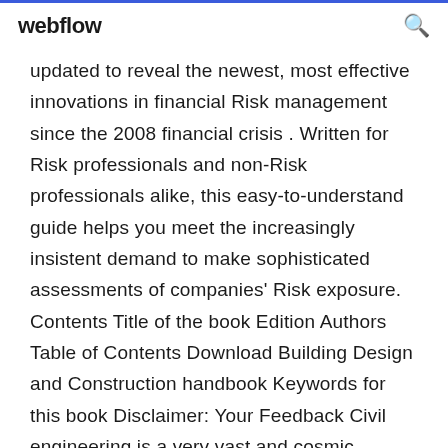webflow
updated to reveal the newest, most effective innovations in financial Risk management since the 2008 financial crisis . Written for Risk professionals and non-Risk professionals alike, this easy-to-understand guide helps you meet the increasingly insistent demand to make sophisticated assessments of companies' Risk exposure. Contents Title of the book Edition Authors Table of Contents Download Building Design and Construction handbook Keywords for this book Disclaimer: Your Feedback Civil engineering is a very vast and cosmic knowledge with gigantic fields and disciplines. The theoretical perspective of the field has so